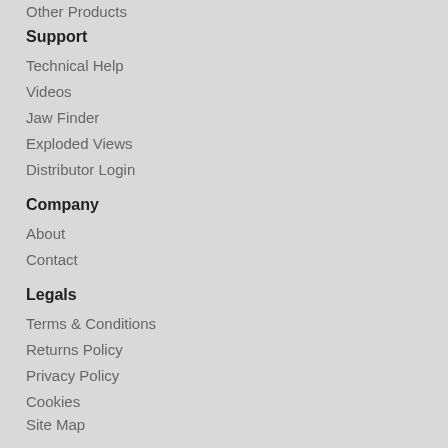Other Products
Support
Technical Help
Videos
Jaw Finder
Exploded Views
Distributor Login
Company
About
Contact
Legals
Terms & Conditions
Returns Policy
Privacy Policy
Cookies
Site Map
Follow us